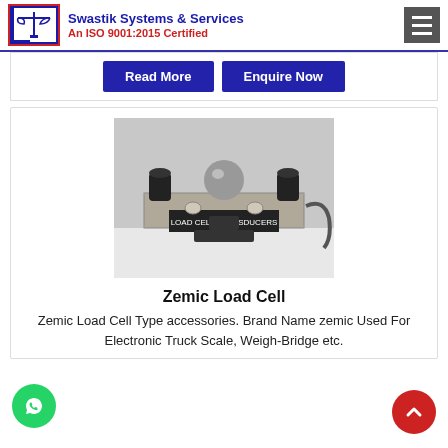Swastik Systems & Services — An ISO 9001:2015 Certified
Read More | Enquire Now
[Figure (photo): Zemic Load Cell Transducer product photo — a metallic load cell transducer with a spherical top, two cylindrical black protrusions on sides, mounted on a platform labeled LOAD CELL TRANSDUCERS, with cable coming out the back]
Zemic Load Cell
Zemic Load Cell Type accessories. Brand Name zemic Used For Electronic Truck Scale, Weigh-Bridge etc.